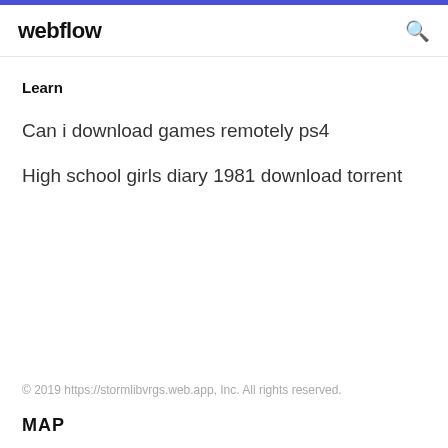webflow
Learn
Can i download games remotely ps4
High school girls diary 1981 download torrent
© 2019 https://stormlibvrgs.web.app, Inc. All rights reserved.
MAP